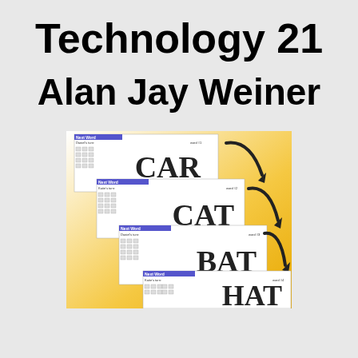Technology 21
Alan Jay Weiner
[Figure (screenshot): Screenshot of an educational word game software showing stacked cards with words CAR, CAT, BAT, HAT on a yellow-white gradient background, with keyboard grids and purple headers labeled 'Next Word', arrows pointing to each word card.]